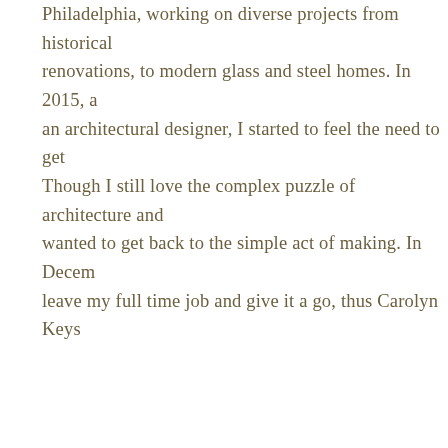Philadelphia, working on diverse projects from historical renovations, to modern glass and steel homes. In 2015, a an architectural designer, I started to feel the need to get Though I still love the complex puzzle of architecture and wanted to get back to the simple act of making. In Decem leave my full time job and give it a go, thus Carolyn Keys